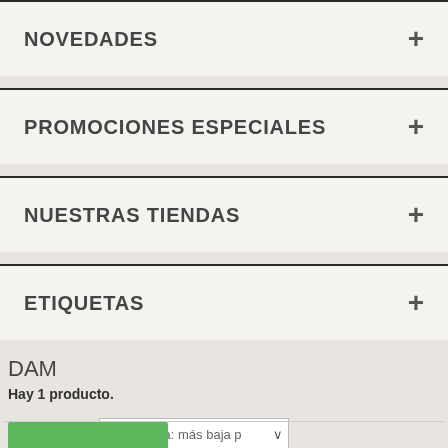NOVEDADES
PROMOCIONES ESPECIALES
NUESTRAS TIENDAS
ETIQUETAS
DAM
Hay 1 producto.
Ordenar por  Referencia: más baja p